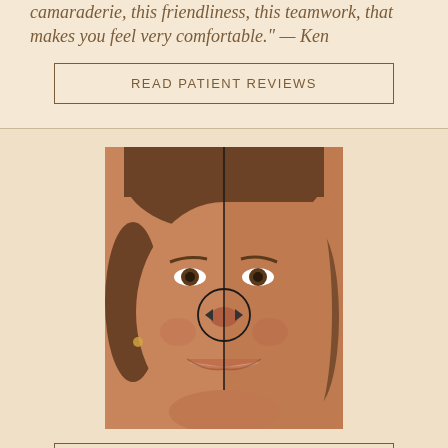camaraderie, this friendliness, this teamwork, that makes you feel very comfortable." — Ken
READ PATIENT REVIEWS
[Figure (photo): Before and after dental treatment comparison photo of a woman's face split vertically down the middle, with a circular crosshair/navigation control overlaid at the nose area showing left and right arrows]
VISIT OUR SMILE GALLERY